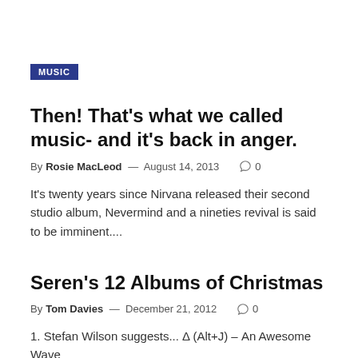MUSIC
Then! That's what we called music- and it's back in anger.
By Rosie MacLeod — August 14, 2013  ○ 0
It's twenty years since Nirvana released their second studio album, Nevermind and a nineties revival is said to be imminent....
Seren's 12 Albums of Christmas
By Tom Davies — December 21, 2012  ○ 0
1. Stefan Wilson suggests... Δ (Alt+J) – An Awesome Wave